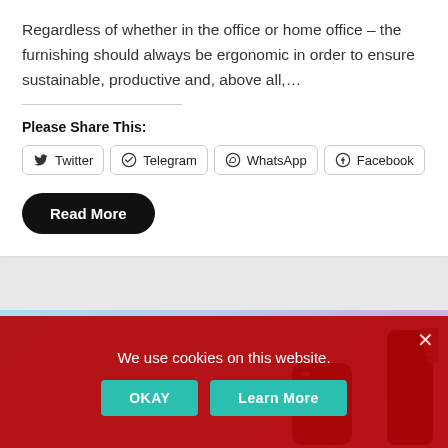Regardless of whether in the office or home office – the furnishing should always be ergonomic in order to ensure sustainable, productive and, above all,…
Please Share This:
Twitter  Telegram  WhatsApp  Facebook
Read More
[Figure (photo): Banner image showing air purifier devices on a light blue-to-purple gradient background]
We use cookies on this website.
OKAY  Learn More